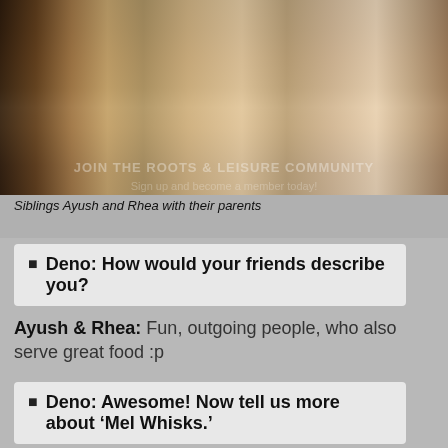[Figure (photo): Group photo showing the lower half of four people standing together indoors, showing legs and feet on a dark wooden floor]
Siblings Ayush and Rhea with their parents
Deno: How would your friends describe you?
Ayush & Rhea: Fun, outgoing people, who also serve great food :p
Deno: Awesome! Now tell us more about ‘Mel Whisks.’